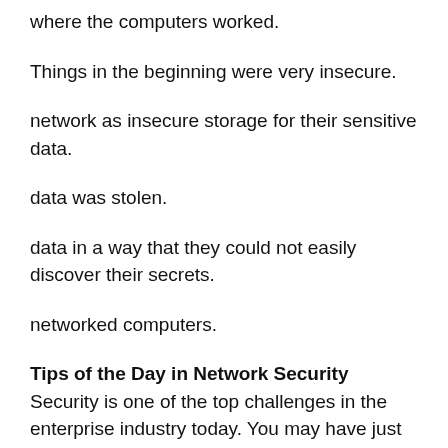where the computers worked.
Things in the beginning were very insecure.
network as insecure storage for their sensitive data.
data was stolen.
data in a way that they could not easily discover their secrets.
networked computers.
Tips of the Day in Network Security
Security is one of the top challenges in the enterprise industry today. You may have just lost access to your